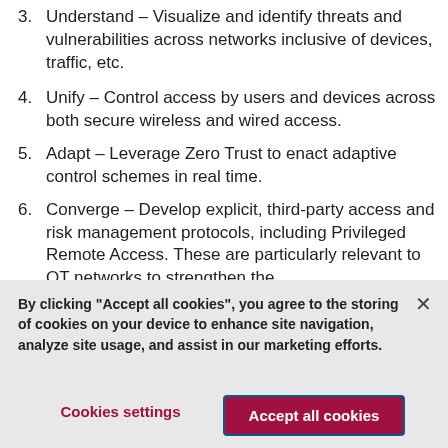3. Understand – Visualize and identify threats and vulnerabilities across networks inclusive of devices, traffic, etc.
4. Unify – Control access by users and devices across both secure wireless and wired access.
5. Adapt – Leverage Zero Trust to enact adaptive control schemes in real time.
6. Converge – Develop explicit, third-party access and risk management protocols, including Privileged Remote Access. These are particularly relevant to OT networks to strengthen the
By clicking "Accept all cookies", you agree to the storing of cookies on your device to enhance site navigation, analyze site usage, and assist in our marketing efforts.
Cookies settings
Accept all cookies